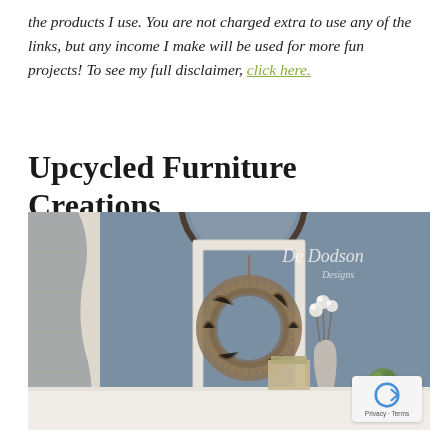the products I use. You are not charged extra to use any of the links, but any income I make will be used for more fun projects! To see my full disclaimer, click here.
Upcycled Furniture Creations
[Figure (photo): Interior lifestyle photo showing a white framed mirror/frame leaning against a dark blue-gray textured wall, with a twig wreath hanging on it. A vase with white cotton flowers and books are on a white surface in the foreground. A circular metal mirror is partially visible at the top. Curtains on the left. Watermark reads 'De Dodson Designs' in the upper right.]